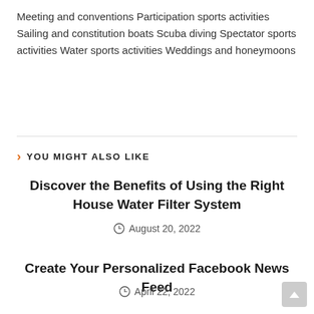Meeting and conventions Participation sports activities Sailing and constitution boats Scuba diving Spectator sports activities Water sports activities Weddings and honeymoons
YOU MIGHT ALSO LIKE
Discover the Benefits of Using the Right House Water Filter System
August 20, 2022
Create Your Personalized Facebook News Feed
April 22, 2022